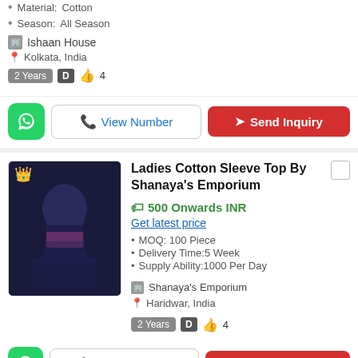Material:Cotton
Season:All Season
Ishaan House
Kolkata, India
2 Years  D  👍 4
View Number  |  Send Inquiry
Ladies Cotton Sleeve Top By Shanaya's Emporium
500 Onwards INR
Get latest price
MOQ: 100 Piece
Delivery Time:5 Week
Supply Ability:1000 Per Day
Shanaya's Emporium
Haridwar, India
2 Years  D  👍 4
View Number  |  Send Inquiry